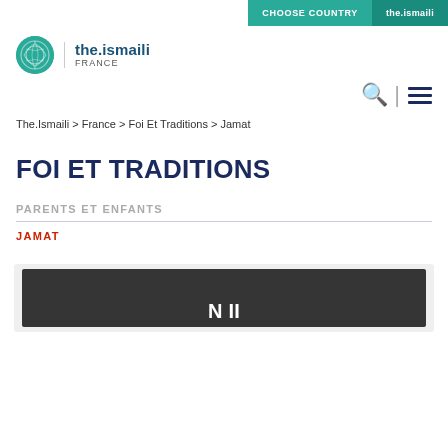CHOOSE COUNTRY | the.ismaili
[Figure (logo): The Ismaili France logo with teal circular emblem and text 'the.ismaili FRANCE']
The.Ismaili > France > Foi Et Traditions > Jamat
FOI ET TRADITIONS
PARENTS ET ENFANTS
JAMAT
[Figure (screenshot): Dark card area with partial white text visible at bottom]